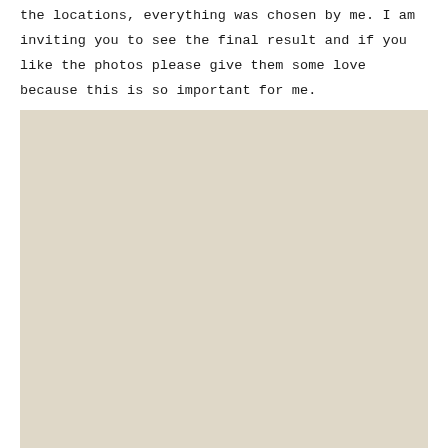the locations, everything was chosen by me. I am inviting you to see the final result and if you like the photos please give them some love because this is so important for me.
[Figure (photo): A large beige/tan colored rectangular photo placeholder occupying the lower portion of the page.]